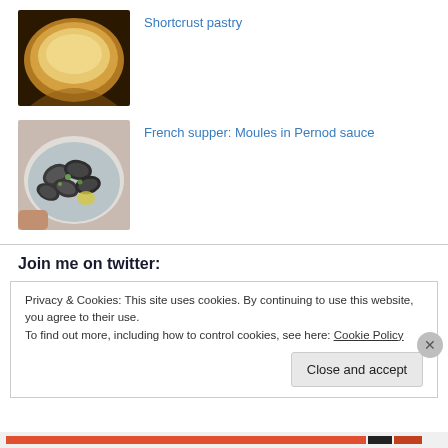[Figure (photo): Photo of shortcrust pastry in a tart tin, golden yellow dough]
Shortcrust pastry
[Figure (photo): Photo of French moules (mussels) in Pernod sauce in a white bowl]
French supper: Moules in Pernod sauce
Join me on twitter:
Privacy & Cookies: This site uses cookies. By continuing to use this website, you agree to their use.
To find out more, including how to control cookies, see here: Cookie Policy
Close and accept